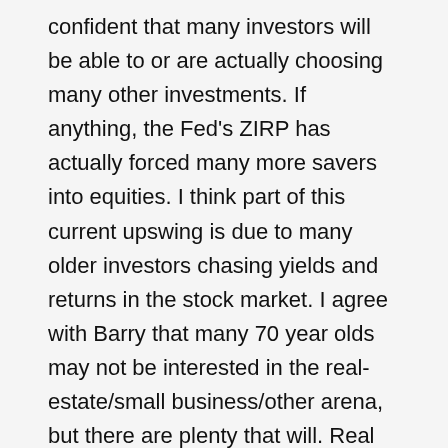confident that many investors will be able to or are actually choosing many other investments. If anything, the Fed's ZIRP has actually forced many more savers into equities. I think part of this current upswing is due to many older investors chasing yields and returns in the stock market. I agree with Barry that many 70 year olds may not be interested in the real-estate/small business/other arena, but there are plenty that will. Real estate can be hands off depending on the location. Smaller towns in Oklahoma are easy here because you can drive to the place 15 minutes away and you know most all the repairmen, etc. And rent houses can be bought for well under 100k in many places (even metro OKC). 3% won't